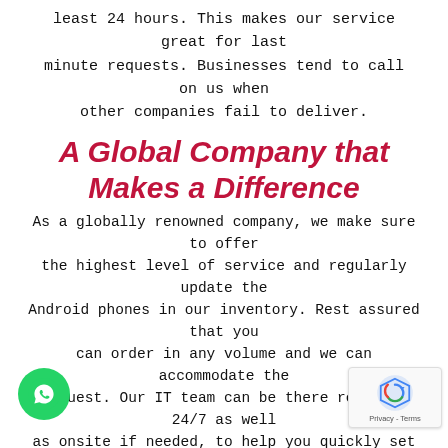least 24 hours. This makes our service great for last minute requests. Businesses tend to call on us when other companies fail to deliver.
A Global Company that Makes a Difference
As a globally renowned company, we make sure to offer the highest level of service and regularly update the Android phones in our inventory. Rest assured that you can order in any volume and we can accommodate the request. Our IT team can be there remotely 24/7 as well as onsite if needed, to help you quickly set up, maintain and use the Android phones throughout the event.
We have a range of Android phones available for rent which includes the latest models of Samsung smartphones. One World Rental has one of the largest collection of smartphones and accessories in the world so when you choose us, we will make sure that you get the smartphone you need with the necessary apps to make your event a success.